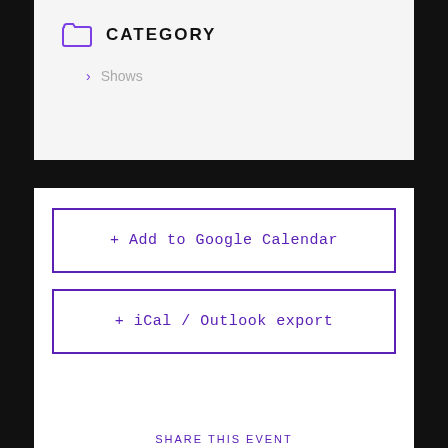CATEGORY
Shows
+ Add to Google Calendar
+ iCal / Outlook export
SHARE THIS EVENT